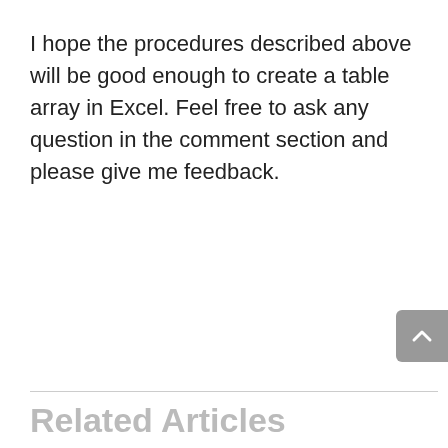I hope the procedures described above will be good enough to create a table array in Excel. Feel free to ask any question in the comment section and please give me feedback.
Related Articles